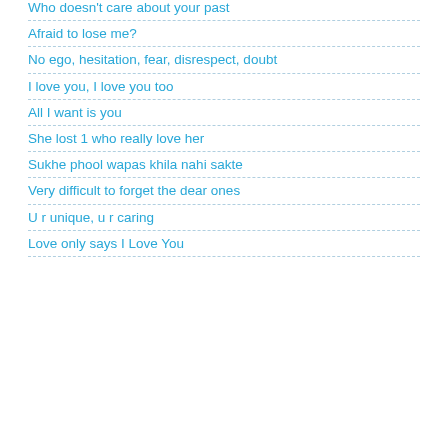Who doesn't care about your past
Afraid to lose me?
No ego, hesitation, fear, disrespect, doubt
I love you, I love you too
All I want is you
She lost 1 who really love her
Sukhe phool wapas khila nahi sakte
Very difficult to forget the dear ones
U r unique, u r caring
Love only says I Love You